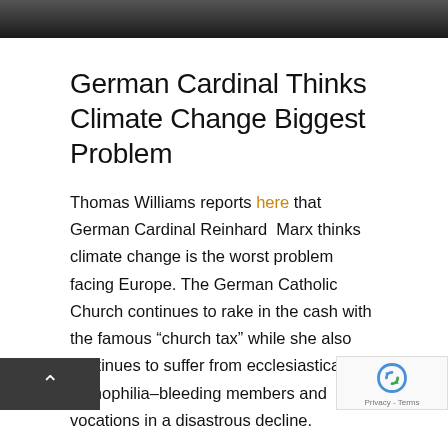[Figure (photo): Partial photo at top of page showing a person, cropped to a dark horizontal banner]
German Cardinal Thinks Climate Change Biggest Problem
Thomas Williams reports here that German Cardinal Reinhard  Marx thinks climate change is the worst problem facing Europe. The German Catholic Church continues to rake in the cash with the famous "church tax" while she also continues to suffer from ecclesiastical hemophilia–bleeding members and vocations in a disastrous decline.
The problems in liberal Christianity are endemic, and they show all the tell tale signs of the insanity of ideology. The ideologue (whether he is right wing, left wing, religious, atheistic, whatever) is convinced that his